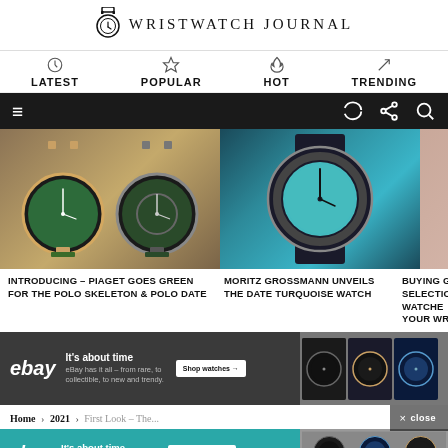Wristwatch Journal
LATEST  POPULAR  HOT  TRENDING
[Figure (screenshot): Website screenshot of Wristwatch Journal showing navigation bar, article cards with watch photos, eBay advertisement banner, breadcrumb navigation, and partial bottom ad]
INTRODUCING – PIAGET GOES GREEN FOR THE POLO SKELETON & POLO DATE
MORITZ GROSSMANN UNVEILS THE DATE TURQUOISE WATCH
BUYING G... SELECTIO... WATCHE... YOUR WR...
It's about time
ebay
eBay has it all – from rare, to collectible, to new and trendy.
Shop watches →
Home › 2021 › First Look – The...
× close